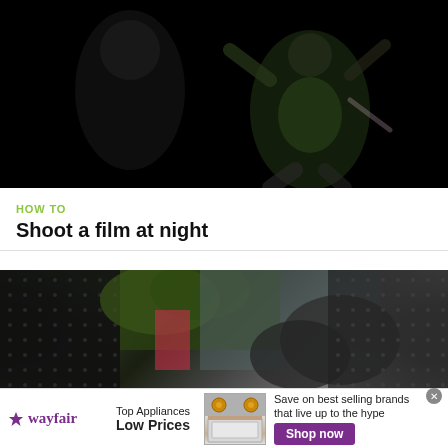[Figure (photo): Dark night scene with two figures; one appears to be wearing a green outfit and posing with arms raised, against a black background.]
HOW TO
Shoot a film at night
[Figure (photo): Screenshot of a video showing an interior car scene with green foliage and various objects visible through the windshield, dark borders on sides.]
[Figure (other): Wayfair advertisement banner: 'Top Appliances Low Prices' with a range/oven image, text 'Save on best selling brands that live up to the hype', and a purple 'Shop now' button.]